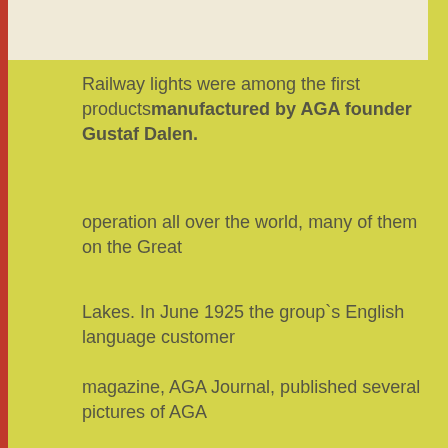[Figure (photo): Partial image of railway lights or related AGA product, shown at top of page]
Railway lights were among the first products manufactured by AGA founder Gustaf Dalen.
operation all over the world, many of them on the Great
Lakes. In June 1925 the group`s English language customer
magazine, AGA Journal, published several pictures of AGA
lichthouses on the Great Lakes, submitted by the